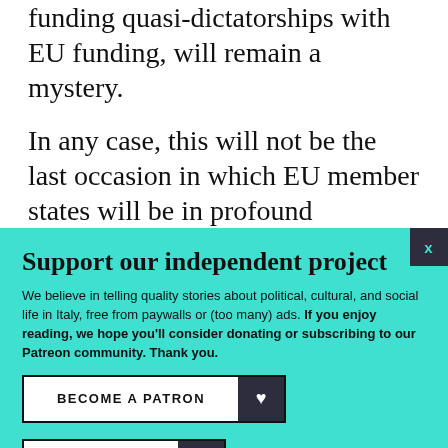funding quasi-dictatorships with EU funding, will remain a mystery.
In any case, this will not be the last occasion in which EU member states will be in profound
Support our independent project
We believe in telling quality stories about political, cultural, and social life in Italy, free from paywalls or (too many) ads. If you enjoy reading, we hope you'll consider donating or subscribing to our Patreon community. Thank you.
BECOME A PATRON
DONATE
Follow us: Facebook Instagram Twitter